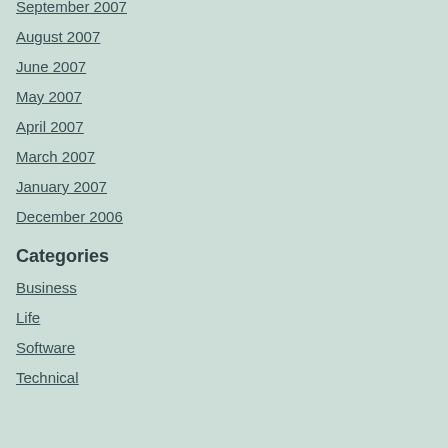September 2007
August 2007
June 2007
May 2007
April 2007
March 2007
January 2007
December 2006
Categories
Business
Life
Software
Technical